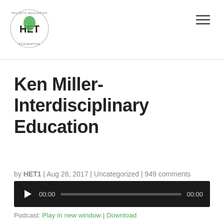HET logo and navigation menu
Ken Miller-Interdisciplinary Education
by HET1 | Aug 28, 2017 | Uncategorized | 949 comments
[Figure (other): Audio player widget with play button, time display 00:00, progress bar, and end time 00:00 on dark background]
Podcast: Play in new window | Download
Subscribe: RSS